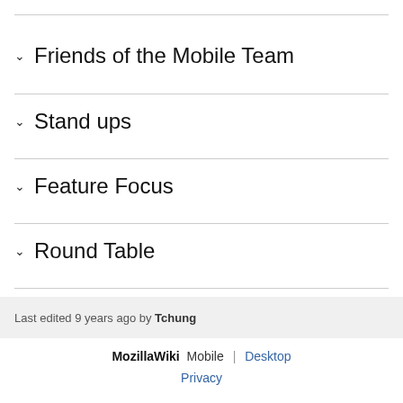Friends of the Mobile Team
Stand ups
Feature Focus
Round Table
Last edited 9 years ago by Tchung
MozillaWiki Mobile | Desktop Privacy